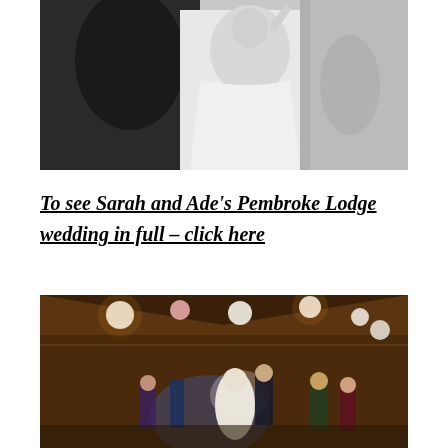[Figure (photo): Black and white photo of a bride and groom dancing or embracing indoors, with curtains in the background.]
To see Sarah and Ade's Pembroke Lodge wedding in full – click here
[Figure (photo): Color photo of a wedding reception dance floor in a barn venue with paper lantern decorations, warm ambient lighting, and couples dancing including the bride and groom in the center.]